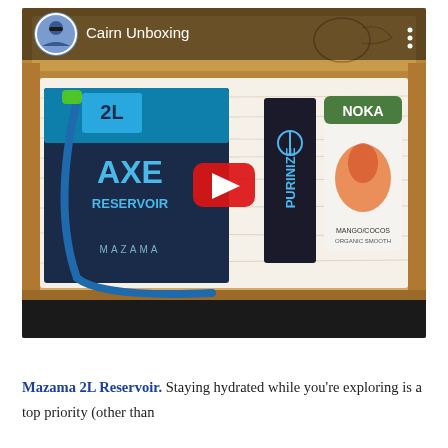[Figure (screenshot): YouTube video thumbnail showing a Cairn Unboxing video. The thumbnail shows an open cardboard box containing outdoor/hiking products: a Mazama AXE 2L Reservoir (hydration pack), a Purinize water purification product, and a NOKA Superfood Blend Mango/Coconut organic smoothie pouch. A circular avatar photo of a person is shown in the top-left. A large red YouTube play button is overlaid in the center. A dark bar appears at the bottom of the video player.]
Mazama 2L Reservoir. Staying hydrated while you're exploring is a top priority (other than